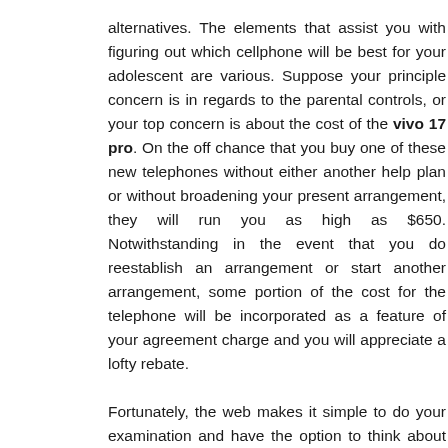alternatives. The elements that assist you with figuring out which cellphone will be best for your adolescent are various. Suppose your principle concern is in regards to the parental controls, or your top concern is about the cost of the vivo 17 pro. On the off chance that you buy one of these new telephones without either another help plan or without broadening your present arrangement, they will run you as high as $650. Notwithstanding in the event that you do reestablish an arrangement or start another arrangement, some portion of the cost for the telephone will be incorporated as a feature of your agreement charge and you will appreciate a lofty rebate.
Fortunately, the web makes it simple to do your examination and have the option to think about all the various alternatives and models of advanced cells that are presently accessible. Simply ensure